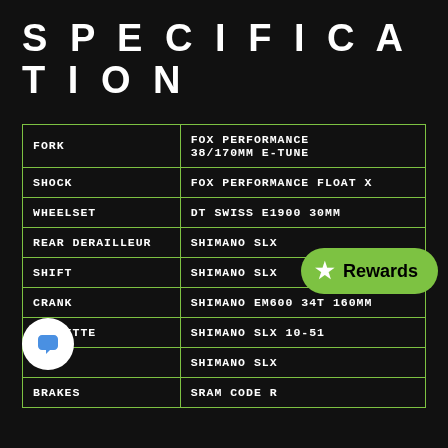SPECIFICATION
| Component | Specification |
| --- | --- |
| FORK | FOX PERFORMANCE 38/170MM E-TUNE |
| SHOCK | FOX PERFORMANCE FLOAT X |
| WHEELSET | DT SWISS E1900 30MM |
| REAR DERAILLEUR | SHIMANO SLX |
| SHIFT | SHIMANO SLX |
| CRANK | SHIMANO EM600 34T 160MM |
| CASSETTE | SHIMANO SLX 10-51 |
|  | SHIMANO SLX |
| BRAKES | SRAM CODE R |